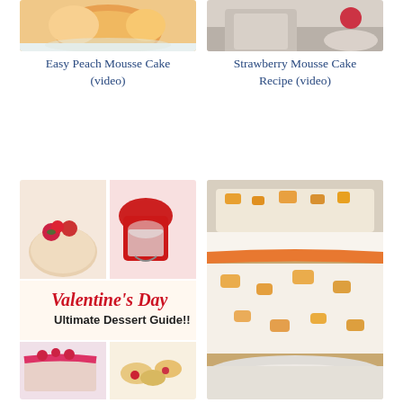[Figure (photo): Easy Peach Mousse Cake photo - top portion showing peach and cream dessert on plate]
[Figure (photo): Strawberry Mousse Cake photo - top portion showing cake slice with strawberry topping]
Easy Peach Mousse Cake (video)
Strawberry Mousse Cake Recipe (video)
[Figure (photo): Valentine's Day Ultimate Dessert Guide collage image with multiple dessert photos including cheesecake with strawberries, red jello glasses, raspberry drizzle cake, and cream puffs]
[Figure (photo): Peach mousse cake slice showing layers with peach pieces and orange glaze on top]